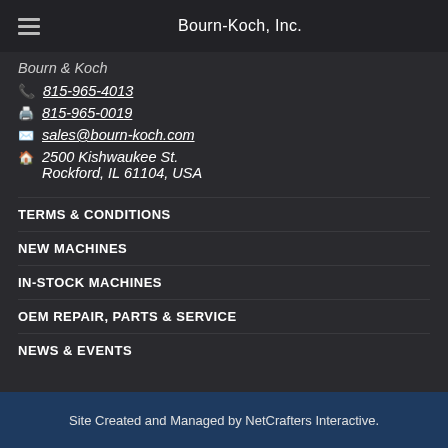Bourn-Koch, Inc.
Bourn & Koch
815-965-4013
815-965-0019
sales@bourn-koch.com
2500 Kishwaukee St. Rockford, IL 61104, USA
TERMS & CONDITIONS
NEW MACHINES
IN-STOCK MACHINES
OEM REPAIR, PARTS & SERVICE
NEWS & EVENTS
Site Created and Managed by NetCrafters Interactive.